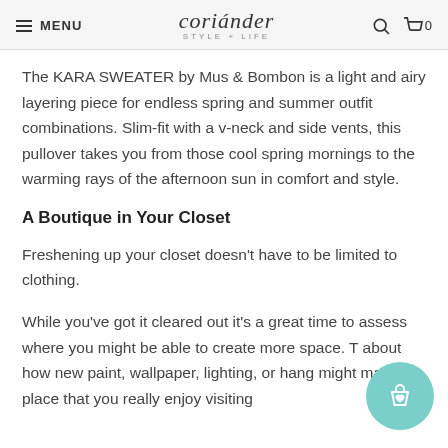MENU | coriander STYLE + LIFE | 🔍 🛒 0
The KARA SWEATER by Mus & Bombon is a light and airy layering piece for endless spring and summer outfit combinations. Slim-fit with a v-neck and side vents, this pullover takes you from those cool spring mornings to the warming rays of the afternoon sun in comfort and style.
A Boutique in Your Closet
Freshening up your closet doesn't have to be limited to clothing.
While you've got it cleared out it's a great time to assess where you might be able to create more space. T... about how new paint, wallpaper, lighting, or hang... might make it a place that you really enjoy visiting